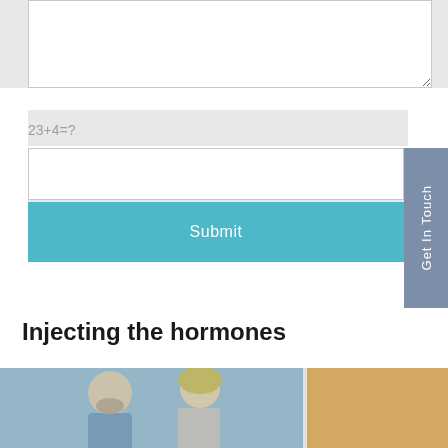23+4=?
Submit
Get In Touch
Injecting the hormones
[Figure (photo): Two people (a bearded man and a blonde woman) photographed close up, with a light background on the right side.]